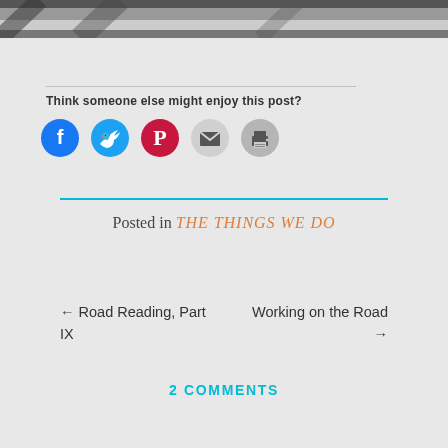[Figure (photo): Black and white photo strip at top of page, partial view]
Think someone else might enjoy this post?
[Figure (infographic): Social sharing icons: Facebook (blue circle), Twitter (blue circle), Pinterest (red circle), Email (grey circle), Print (grey circle)]
Posted in THE THINGS WE DO
← Road Reading, Part IX   Working on the Road →
2 COMMENTS